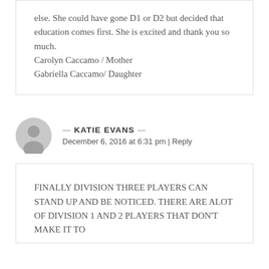else. She could have gone D1 or D2 but decided that education comes first. She is excited and thank you so much.
Carolyn Caccamo / Mother
Gabriella Caccamo/ Daughter
— KATIE EVANS —
December 6, 2016 at 6:31 pm | Reply
FINALLY DIVISION THREE PLAYERS CAN STAND UP AND BE NOTICED. THERE ARE ALOT OF DIVISION 1 AND 2 PLAYERS THAT DON'T MAKE IT TO